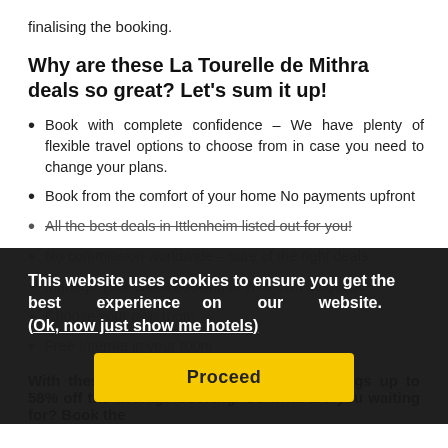finalising the booking.
Why are these La Tourelle de Mithra deals so great? Let's sum it up!
Book with complete confidence – We have plenty of flexible travel options to choose from in case you need to change your plans.
Book from the comfort of your home No payments upfront
All the best deals in Ittlenheim listed out for you!
No commission worldwide – sure of the right deals
Manage your entire booking in your own language
Choose your own room
Free Internet in your room
This website uses cookies to ensure you get the best experience on our website. (Ok, now just show me hotels)
Proceed
With these deals you can expect big savings up to 58% off the average booking. So what are you waiting for? Book the